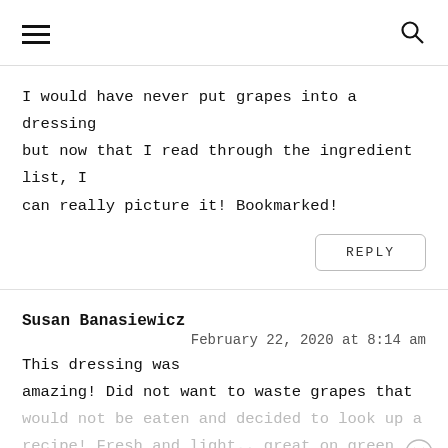I would have never put grapes into a dressing but now that I read through the ingredient list, I can really picture it! Bookmarked!
REPLY
Susan Banasiewicz
February 22, 2020 at 8:14 am
This dressing was amazing! Did not want to waste grapes that would not be eaten and decided to look up a recipe! Fresh and light.. great on green salads